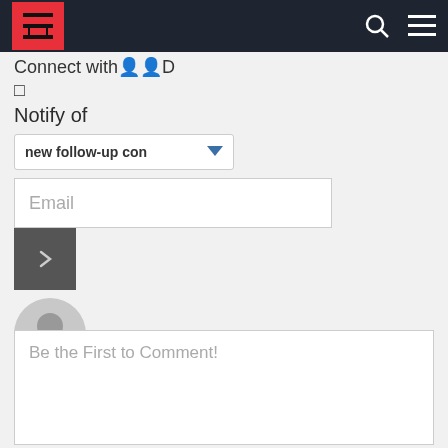[Figure (screenshot): Website navigation bar with red logo box containing a stylized Chinese character, search icon, and hamburger menu icon on dark background]
Connect with 👥 D
□
Notify of
[Figure (screenshot): Dropdown select element showing 'new follow-up con' with blue triangle arrow]
[Figure (screenshot): Email input field with placeholder text 'Email']
[Figure (screenshot): Dark grey submit button with right arrow chevron]
[Figure (screenshot): Default grey user avatar icon]
Be the First to Comment!